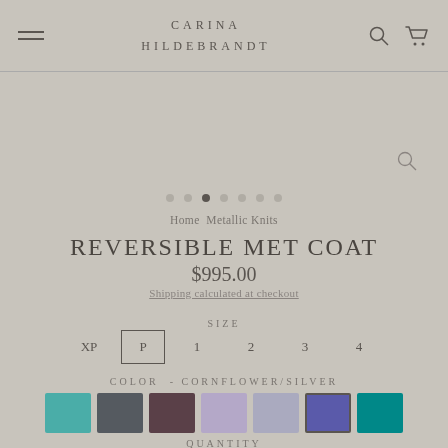CARINA HILDEBRANDT
[Figure (screenshot): Image carousel dot indicators, 7 dots with third dot active]
Home  Metallic Knits
REVERSIBLE MET COAT
$995.00
Shipping calculated at checkout
SIZE
XP
P (selected)
1
2
3
4
COLOR - Cornflower/Silver
[Figure (illustration): 7 color swatches: teal/green, dark grey, dark purple/mauve, light lavender, light grey/lavender, cornflower blue (selected), teal]
QUANTITY